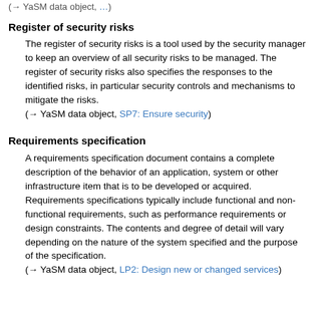(→ YaSM data object, ...)
Register of security risks
The register of security risks is a tool used by the security manager to keep an overview of all security risks to be managed. The register of security risks also specifies the responses to the identified risks, in particular security controls and mechanisms to mitigate the risks.
(→ YaSM data object, SP7: Ensure security)
Requirements specification
A requirements specification document contains a complete description of the behavior of an application, system or other infrastructure item that is to be developed or acquired. Requirements specifications typically include functional and non-functional requirements, such as performance requirements or design constraints. The contents and degree of detail will vary depending on the nature of the system specified and the purpose of the specification.
(→ YaSM data object, LP2: Design new or changed services)